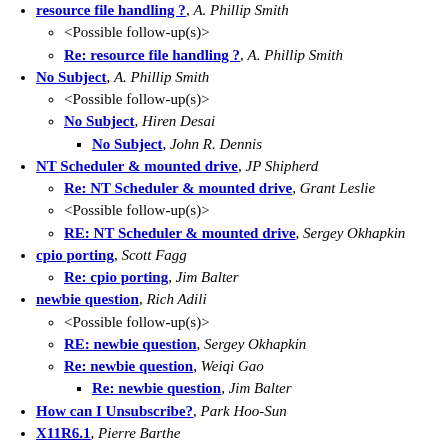resource file handling ?, A. Phillip Smith
<Possible follow-up(s)>
Re: resource file handling ?, A. Phillip Smith
No Subject, A. Phillip Smith
<Possible follow-up(s)>
No Subject, Hiren Desai
No Subject, John R. Dennis
NT Scheduler & mounted drive, JP Shipherd
Re: NT Scheduler & mounted drive, Grant Leslie
<Possible follow-up(s)>
RE: NT Scheduler & mounted drive, Sergey Okhapkin
cpio porting, Scott Fagg
Re: cpio porting, Jim Balter
newbie question, Rich Adili
<Possible follow-up(s)>
RE: newbie question, Sergey Okhapkin
Re: newbie question, Weiqi Gao
Re: newbie question, Jim Balter
How can I Unsubscribe?, Park Hoo-Sun
X11R6.1, Pierre Barthe
RE: Compiling Perl 5.003 on 17.1, Karl Martin Syring
crosscompilation, Janusz J. Mlodzianowski
bash export problem, Christoph Kukulies
Re: bash export problem, Jim Balter